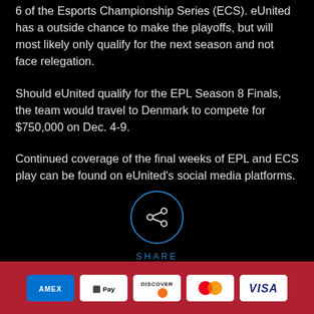6 of the Esports Championship Series (ECS). eUnited has a outside chance to make the playoffs, but will most likely only qualify for the next season and not face relegation.
Should eUnited qualify for the EPL Season 8 Finals, the team would travel to Denmark to compete for $750,000 on Dec. 4-9.
Continued coverage of the final weeks of EPL and ECS play can be found on eUnited's social media platforms.
[Figure (other): Share button icon — a circle with a network share symbol inside, labeled SHARE below in blue text]
[Figure (other): Footer payment icons row: AMEX, Apple Pay, Discover, Mastercard, Visa on a red background]